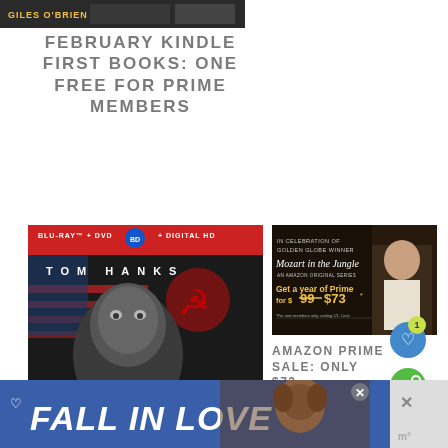[Figure (screenshot): Top image strip showing 'GILES O'BRIEN' text on dark background]
FEBRUARY KINDLE FIRST BOOKS: ONE FREE FOR PRIME MEMBERS
[Figure (photo): Bridge of Spies Blu-ray + DVD + Digital HD movie cover featuring Tom Hanks, directed by Steven Spielberg]
[Figure (screenshot): Amazon Prime promotion: In celebration of Golden Globe winner Mozart in the Jungle - An Amazon Original Series. Get a year of Prime for $99 $73*]
AMAZON PRIME SALE: ONLY $73 FOR NEW MEMBERS (REG
[Figure (screenshot): Bottom advertisement banner: FALL IN LOVE with dog image, blue background]